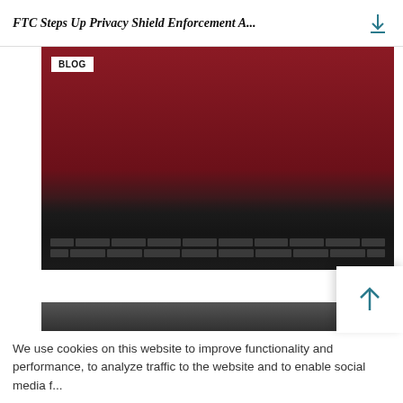FTC Steps Up Privacy Shield Enforcement A...
[Figure (photo): Blog card image showing a laptop keyboard with dark background, with BLOG badge overlay. Part of an article card, cropped in view.]
[Figure (photo): Second blog card image with dark gradient at top, transitioning to dark red background card for NIST Releases Privacy Framework article.]
NIST Releases Privacy Framework
JANUARY 21, 2020
BLOG
We use cookies on this website to improve functionality and performance, to analyze traffic to the website and to enable social media f...